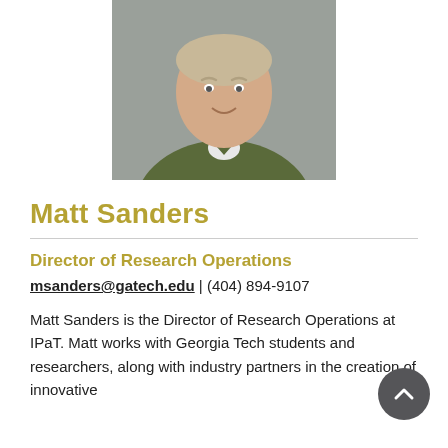[Figure (photo): Headshot photo of Matt Sanders, a man in a green button-up shirt, against a grey background]
Matt Sanders
Director of Research Operations
msanders@gatech.edu | (404) 894-9107
Matt Sanders is the Director of Research Operations at IPaT. Matt works with Georgia Tech students and researchers, along with industry partners in the creation of innovative